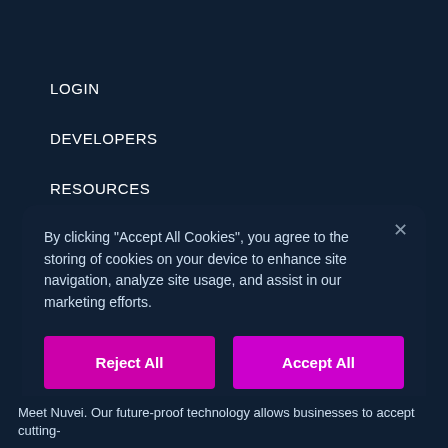LOGIN
DEVELOPERS
RESOURCES
PARTNER WITH US
By clicking "Accept All Cookies", you agree to the storing of cookies on your device to enhance site navigation, analyze site usage, and assist in our marketing efforts.
Reject All
Accept All
Cookies Settings
Meet Nuvei. Our future-proof technology allows businesses to accept cutting-